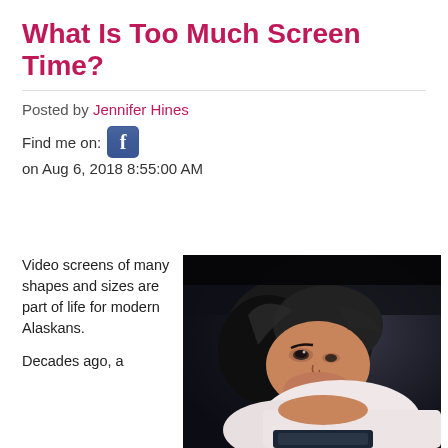What Is Too Much Screen Time?
Posted by Jennifer Hines
Find me on: [Facebook icon]
on Aug 6, 2018 8:55:00 AM
[Figure (photo): Young woman with dark hair lying down, resting her head on her hand, looking at camera, wearing a white top, dark background]
Video screens of many shapes and sizes are part of life for modern Alaskans.

Decades ago, a